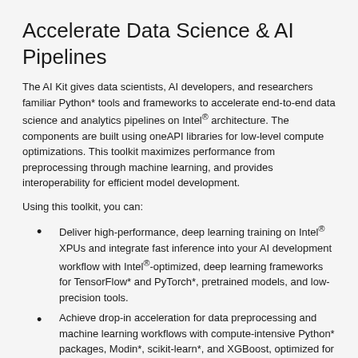Accelerate Data Science & AI Pipelines
The AI Kit gives data scientists, AI developers, and researchers familiar Python* tools and frameworks to accelerate end-to-end data science and analytics pipelines on Intel® architecture. The components are built using oneAPI libraries for low-level compute optimizations. This toolkit maximizes performance from preprocessing through machine learning, and provides interoperability for efficient model development.
Using this toolkit, you can:
Deliver high-performance, deep learning training on Intel® XPUs and integrate fast inference into your AI development workflow with Intel®-optimized, deep learning frameworks for TensorFlow* and PyTorch*, pretrained models, and low-precision tools.
Achieve drop-in acceleration for data preprocessing and machine learning workflows with compute-intensive Python* packages, Modin*, scikit-learn*, and XGBoost, optimized for Intel.
Gain direct access to analytics and AI optimizations